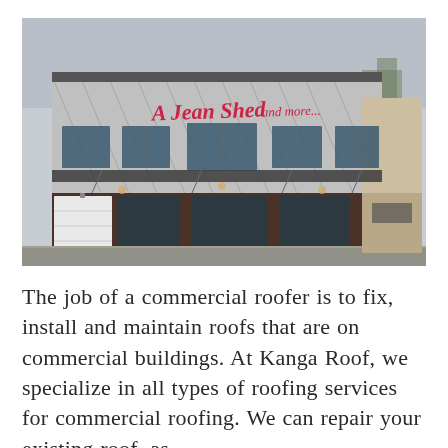[Figure (photo): Exterior photo of a modern two-story commercial building with a silver diagonal-patterned facade, red cursive signage, dark brown lower level columns, and large windows, photographed from a street corner.]
The job of a commercial roofer is to fix, install and maintain roofs that are on commercial buildings. At Kanga Roof, we specialize in all types of roofing services for commercial roofing. We can repair your existing roof, as